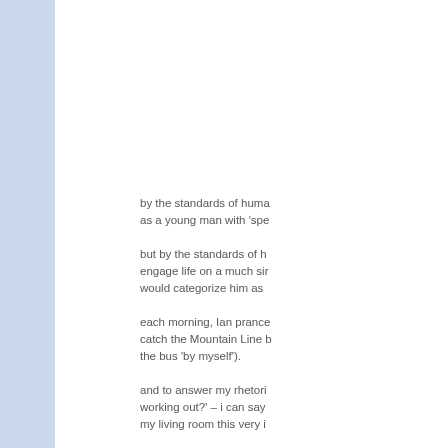by the standards of huma as a young man with 'spe
but by the standards of h engage life on a much sir would categorize him as
each morning, Ian prance catch the Mountain Line b the bus 'by myself').
and to answer my rhetori working out?' – i can say my living room this very i